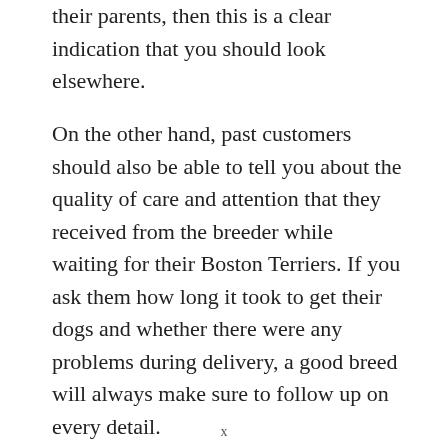their parents, then this is a clear indication that you should look elsewhere.
On the other hand, past customers should also be able to tell you about the quality of care and attention that they received from the breeder while waiting for their Boston Terriers. If you ask them how long it took to get their dogs and whether there were any problems during delivery, a good breed will always make sure to follow up on every detail.
x